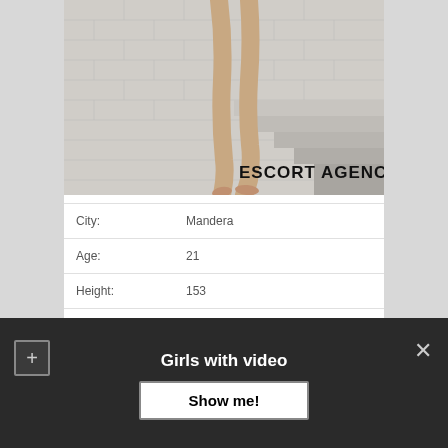[Figure (photo): Photo of a person's legs on stairs with brick wall background, watermark text 'ESCORT AGENCY' in bold black letters at bottom right]
| City: | Mandera |
| Age: | 21 |
| Height: | 153 |
| WEIGHT: | 59 |
| Availability: | 10:00 – 23:00 |
Girls with video
Show me!